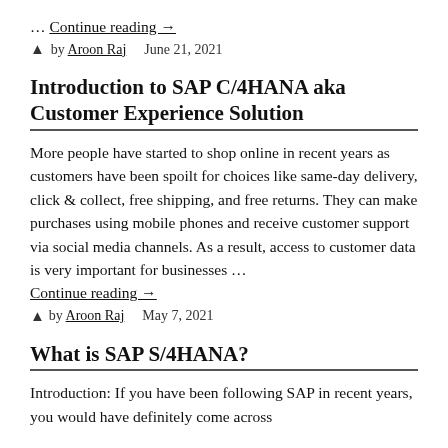… Continue reading →
by Aroon Raj   June 21, 2021
Introduction to SAP C/4HANA aka Customer Experience Solution
More people have started to shop online in recent years as customers have been spoilt for choices like same-day delivery, click & collect, free shipping, and free returns. They can make purchases using mobile phones and receive customer support via social media channels. As a result, access to customer data is very important for businesses …
Continue reading →
by Aroon Raj   May 7, 2021
What is SAP S/4HANA?
Introduction: If you have been following SAP in recent years, you would have definitely come across